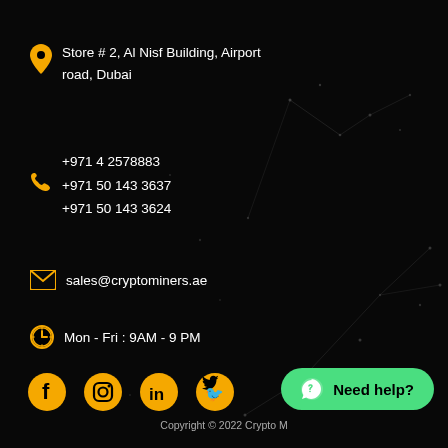Store # 2, Al Nisf Building, Airport road, Dubai
+971 4 2578883
+971 50 143 3637
+971 50 143 3624
sales@cryptominers.ae
Mon - Fri : 9AM - 9 PM
[Figure (infographic): Social media icons: Facebook, Instagram, LinkedIn, Twitter in yellow]
[Figure (infographic): Need help? WhatsApp button in green]
Copyright © 2022 Crypto M...